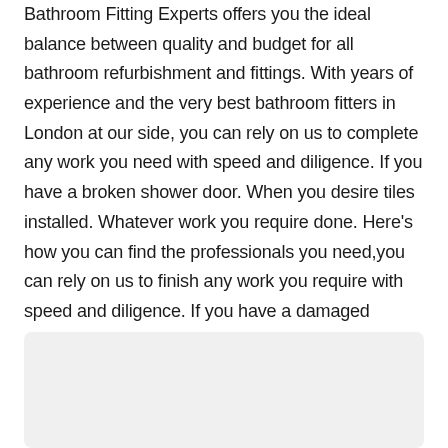Bathroom Fitting Experts offers you the ideal balance between quality and budget for all bathroom refurbishment and fittings. With years of experience and the very best bathroom fitters in London at our side, you can rely on us to complete any work you need with speed and diligence. If you have a broken shower door. When you desire tiles installed. Whatever work you require done. Here's how you can find the professionals you need,you can rely on us to finish any work you require with speed and diligence. If you have a damaged shower door. When you desire tiles set up. Whatever work you require done. Here's how you can discover the specialists you require.
[Figure (other): Light grey rounded card with a green circular phone/call button icon on the left side]